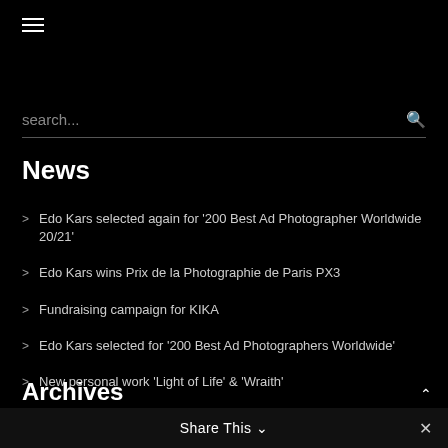[Figure (other): Hamburger menu icon (three horizontal lines)]
search...
News
Edo Kars selected again for '200 Best Ad Photographer Worldwide 20/21'
Edo Kars wins Prix de la Photographie de Paris PX3
Fundraising campaign for KIKA
Edo Kars selected for '200 Best Ad Photographers Worldwide'
New personal work 'Light of Life' & 'Wraith'
Archives
Share This